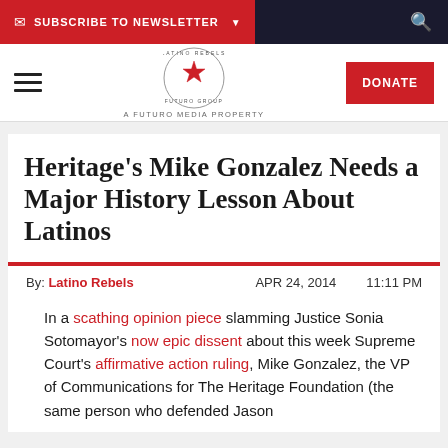SUBSCRIBE TO NEWSLETTER
[Figure (logo): Latino Rebels logo — red star in a circle with text 'A Futuro Media Property']
Heritage’s Mike Gonzalez Needs a Major History Lesson About Latinos
By: Latino Rebels   APR 24, 2014   11:11 PM
In a scathing opinion piece slamming Justice Sonia Sotomayor’s now epic dissent about this week Supreme Court’s affirmative action ruling, Mike Gonzalez, the VP of Communications for The Heritage Foundation (the same person who defended Jason